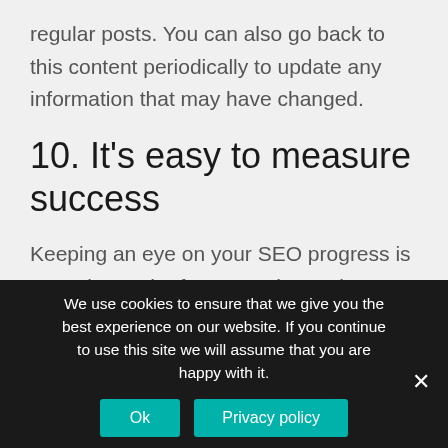regular posts. You can also go back to this content periodically to update any information that may have changed.
10. It's easy to measure success
Keeping an eye on your SEO progress is easy due to the free reporting tools you can use. The important thing is to set up these tools early. As soon as you have a website, you should link it to Google Analytics
We use cookies to ensure that we give you the best experience on our website. If you continue to use this site we will assume that you are happy with it.